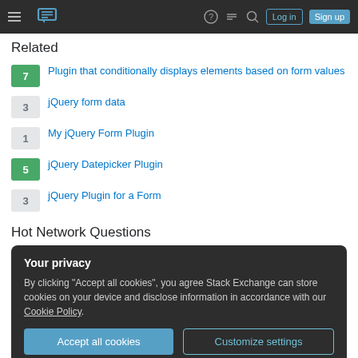Stack Exchange navigation bar with hamburger menu, logo, help, chat, search icons, Log in and Sign up buttons
Related
7 Plugin that conditionally displays elements based on form values
3 jQuery form data
1 My jQuery Form Plugin
5 jQuery Datepicker Plugin
3 jQuery Plugin for a Form
Hot Network Questions
Your privacy
By clicking "Accept all cookies", you agree Stack Exchange can store cookies on your device and disclose information in accordance with our Cookie Policy.
Accept all cookies   Customize settings
Why do photos with different settings produce different spots?